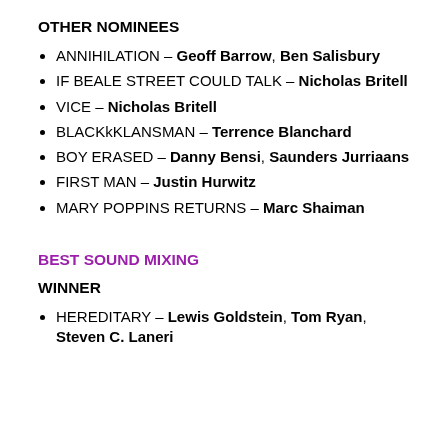OTHER NOMINEES
ANNIHILATION – Geoff Barrow, Ben Salisbury
IF BEALE STREET COULD TALK – Nicholas Britell
VICE – Nicholas Britell
BLACKkKLANSMAN – Terrence Blanchard
BOY ERASED – Danny Bensi, Saunders Jurriaans
FIRST MAN – Justin Hurwitz
MARY POPPINS RETURNS – Marc Shaiman
BEST SOUND MIXING
WINNER
HEREDITARY – Lewis Goldstein, Tom Ryan, Steven C. Laneri